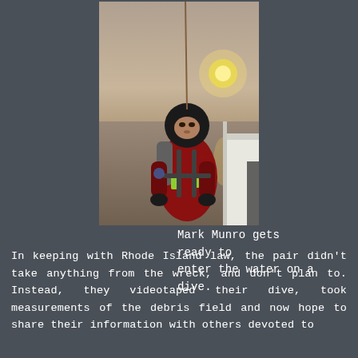[Figure (photo): A diver in a red dry suit and black hood, wearing scuba equipment and tanks, standing on a boat deck with calm water and a hazy sun in the background, getting ready to enter the water.]
Mark Munro gets ready to enter the water on a dive.
In keeping with Rhode Island law, the pair didn't take anything from the wreck, and don't plan to. Instead, they videotaped their dive, took measurements of the debris field and now hope to share their information with others devoted to preserving Rhode Island's maritime heritage.